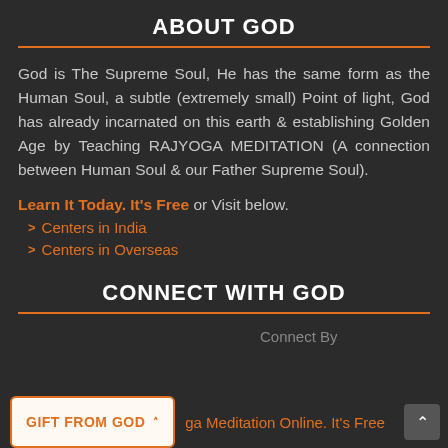ABOUT GOD
God is The Supreme Soul, He has the same form as the Human Soul, a subtle (extremely small) Point of light, God has already incarnated on this earth & establishing Golden Age by Teaching RAJYOGA MEDITATION (A connection between Human Soul & our Father Supreme Soul).
Learn It Today. It's Free or Visit below.
Centers in India
Centers in Overseas
CONNECT WITH GOD
Connect By
GIFT FROM GOD  ga Meditation Online. It's Free